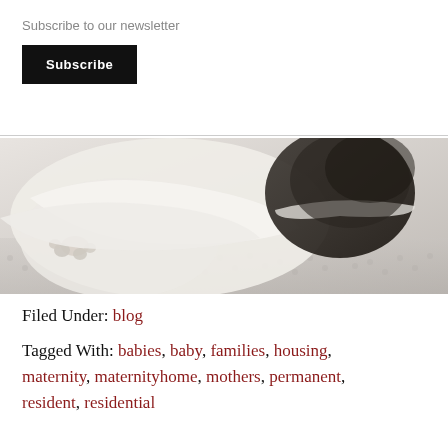Subscribe to our newsletter
Subscribe
[Figure (photo): Black and white close-up photo of a newborn baby lying on a textured blanket, wearing a striped headband, with small feet visible.]
Filed Under: blog
Tagged With: babies, baby, families, housing, maternity, maternityhome, mothers, permanent, resident, residential